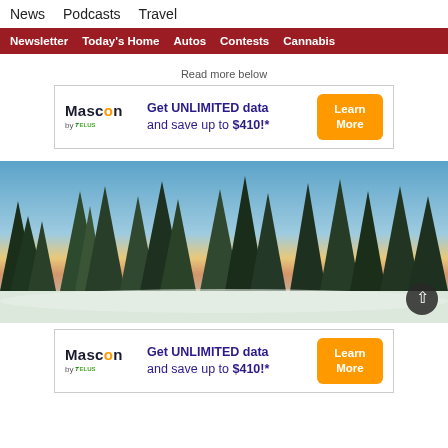News  Podcasts  Travel
Newsletter  Today's Home  Autos  Contests  Cannabis
Read more below
[Figure (infographic): Mascon by TELUS advertisement banner: Get UNLIMITED data and save up to $410!* with Learn More button]
[Figure (photo): Winter landscape photograph showing tall pine/spruce trees covered in snow against a blue sky with orange sunset clouds]
[Figure (infographic): Mascon by TELUS advertisement banner (repeated): Get UNLIMITED data and save up to $410!* with Learn More button]